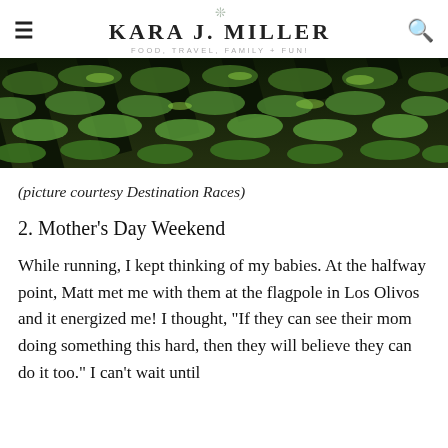KARA J. MILLER — FOOD, TRAVEL, FAMILY + FUN!
[Figure (photo): Aerial or close-up view of vineyard rows with lush green grapevines on dark soil, sunlit from above.]
(picture courtesy Destination Races)
2. Mother's Day Weekend
While running, I kept thinking of my babies. At the halfway point, Matt met me with them at the flagpole in Los Olivos and it energized me! I thought, "If they can see their mom doing something this hard, then they will believe they can do it too." I can't wait until